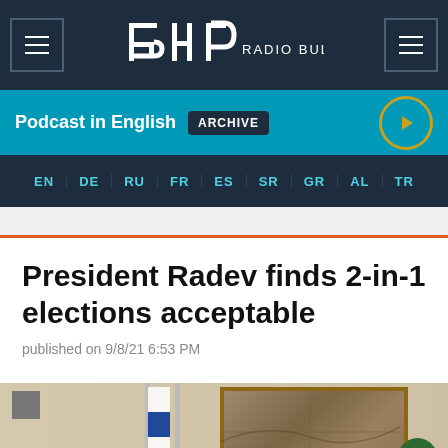BNR RADIO BULGARIA
Podcast in English ARCHIVE
EN DE RU FR ES SR GR AL TR
President Radev finds 2-in-1 elections acceptable
published on 9/8/21 6:53 PM
[Figure (photo): Photo of President Radev with flags and a painting in background]